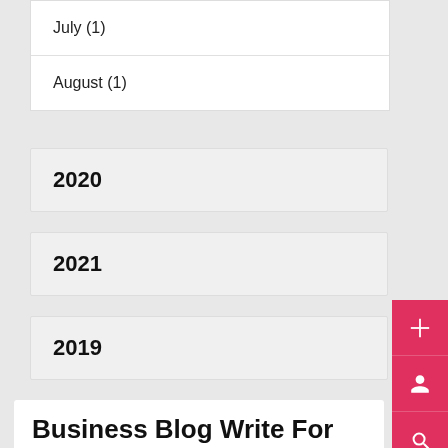July (1)
August (1)
2020
2021
2019
Business Blog Write For Us
A zealous business owner always looks to connect. Blogging can be a great platform to reach out to your target audience. Whether it is about a business idea